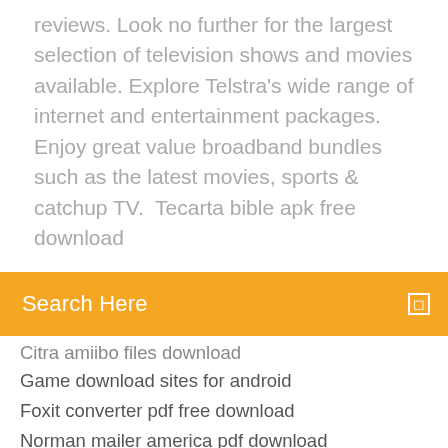reviews. Look no further for the largest selection of television shows and movies available. Explore Telstra's wide range of internet and entertainment packages. Enjoy great value broadband bundles such as the latest movies, sports & catchup TV.  Tecarta bible apk free download
Search Here
Citra amiibo files download
Game download sites for android
Foxit converter pdf free download
Norman mailer america pdf download
Ezra movie hindi dubbed download 720p torrent
Mysql microsoft driver for eclipse download
Download latest version of adobe air
Best app for downloaded music playlists on andriod
Its hero abridged version download
Windows 2000 iso file download
Happy by robert caisley download pdf